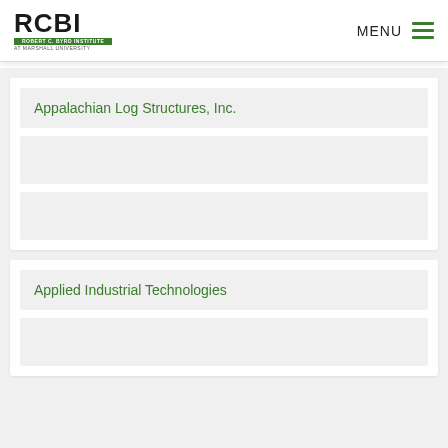RCBI - Robert C. Byrd Institute at Marshall University | MENU
Appalachian Log Structures, Inc.
Applied Industrial Technologies